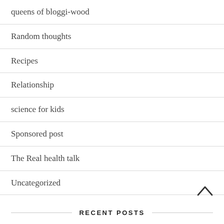queens of bloggi-wood
Random thoughts
Recipes
Relationship
science for kids
Sponsored post
The Real health talk
Uncategorized
RECENT POSTS